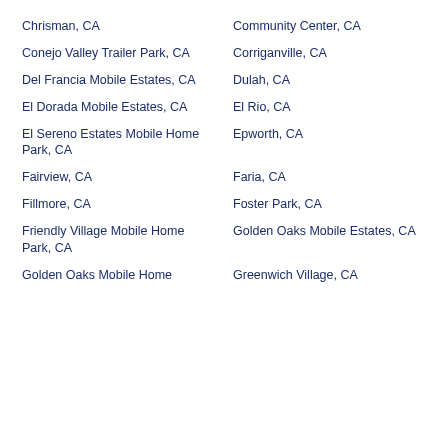Chrisman, CA
Community Center, CA
Conejo Valley Trailer Park, CA
Corriganville, CA
Del Francia Mobile Estates, CA
Dulah, CA
El Dorada Mobile Estates, CA
El Rio, CA
El Sereno Estates Mobile Home Park, CA
Epworth, CA
Fairview, CA
Faria, CA
Fillmore, CA
Foster Park, CA
Friendly Village Mobile Home Park, CA
Golden Oaks Mobile Estates, CA
Golden Oaks Mobile Home
Greenwich Village, CA